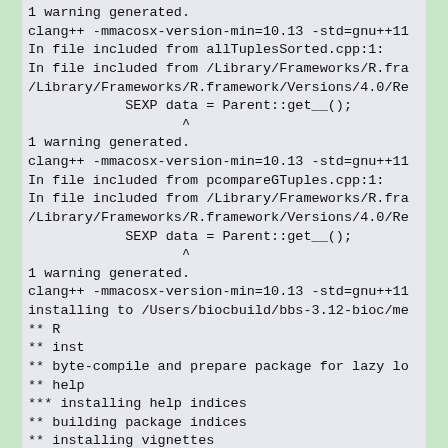1 warning generated.
clang++ -mmacosx-version-min=10.13 -std=gnu++11
In file included from allTuplesSorted.cpp:1:
In file included from /Library/Frameworks/R.fra
/Library/Frameworks/R.framework/Versions/4.0/Re
            SEXP data = Parent::get__();
                   ^
1 warning generated.
clang++ -mmacosx-version-min=10.13 -std=gnu++11
In file included from pcompareGTuples.cpp:1:
In file included from /Library/Frameworks/R.fra
/Library/Frameworks/R.framework/Versions/4.0/Re
            SEXP data = Parent::get__();
                   ^
1 warning generated.
clang++ -mmacosx-version-min=10.13 -std=gnu++11
installing to /Users/biocbuild/bbs-3.12-bioc/me
** R
** inst
** byte-compile and prepare package for lazy lo
** help
*** installing help indices
** building package indices
** installing vignettes
** testing if installed package can be loaded f
** checking absolute paths in shared objects an
** testing if installed package can be loaded f
** testing if installed package keeps a record